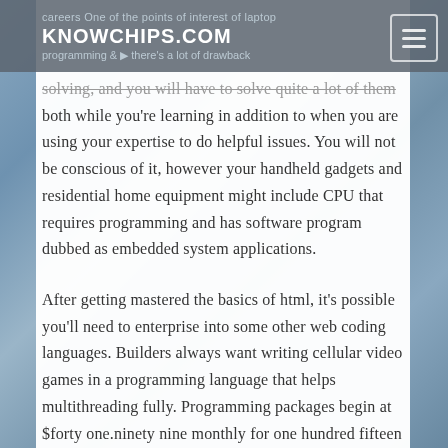KNOWCHIPS.COM
careers. One of the points of interest of laptop programming is that there's a lot of drawback solving, and you will have to solve quite a lot of them both while you're learning in addition to when you are using your expertise to do helpful issues. You will not be conscious of it, however your handheld gadgets and residential home equipment might include CPU that requires programming and has software program dubbed as embedded system applications.
After getting mastered the basics of html, it's possible you'll need to enterprise into some other web coding languages. Builders always want writing cellular video games in a programming language that helps multithreading fully. Programming packages begin at $forty one.ninety nine monthly for one hundred fifteen channels.